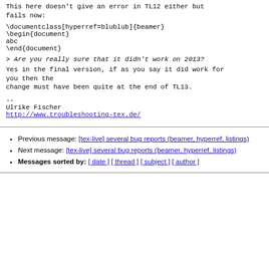This here doesn't give an error in TL12 either but fails now:
> Are you really sure that it didn't work on 2013?
Yes in the final version, if as you say it did work for you then the change must have been quite at the end of TL13.
--
Ulrike Fischer
http://www.troubleshooting-tex.de/
Previous message: [tex-live] several bug reports (beamer, hyperref, listings)
Next message: [tex-live] several bug reports (beamer, hyperref, listings)
Messages sorted by: [ date ] [ thread ] [ subject ] [ author ]